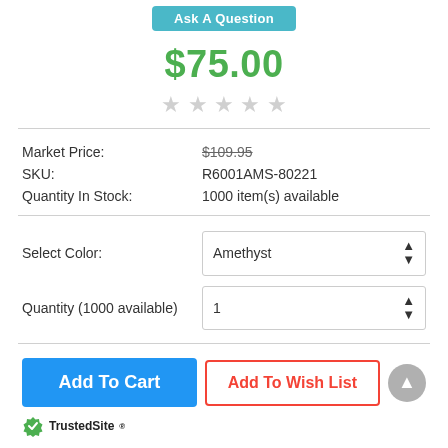Ask A Question
$75.00
[Figure (other): Five empty star rating icons (no stars filled)]
Market Price: $109.95
SKU: R6001AMS-80221
Quantity In Stock: 1000 item(s) available
Select Color: Amethyst
Quantity (1000 available): 1
Add To Cart
Add To Wish List
[Figure (logo): TrustedSite logo with green checkmark shield]